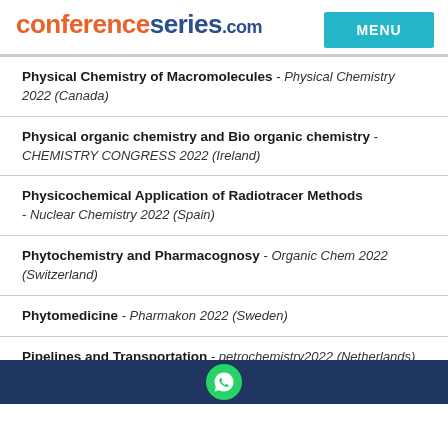conferenceseries.com — MENU
Physical Chemistry of Macromolecules - Physical Chemistry 2022 (Canada)
Physical organic chemistry and Bio organic chemistry - CHEMISTRY CONGRESS 2022 (Ireland)
Physicochemical Application of Radiotracer Methods - Nuclear Chemistry 2022 (Spain)
Phytochemistry and Pharmacognosy - Organic Chem 2022 (Switzerland)
Phytomedicine - Pharmakon 2022 (Sweden)
Pipelines and Transportation - petrochemistry2022 (Netherlands)
WhatsApp contact footer